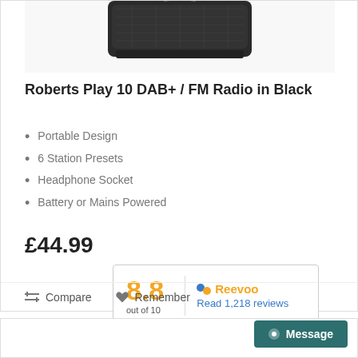[Figure (photo): Partial view of Roberts Play 10 DAB+ FM Radio in Black, showing top portion of the device]
Roberts Play 10 DAB+ / FM Radio in Black
Portable Design
6 Station Presets
Headphone Socket
Battery or Mains Powered
£44.99
[Figure (infographic): Reevoo rating box showing 8.8 out of 10, with link to Read 1,218 reviews]
Compare   Remember